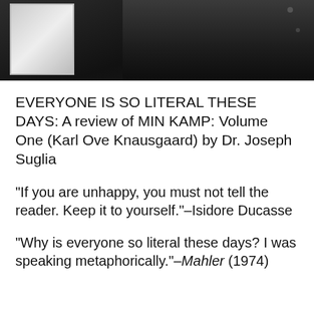[Figure (photo): Partial photo of a person in a dark jacket, with a framed artwork visible on the left side. Dark background.]
EVERYONE IS SO LITERAL THESE DAYS: A review of MIN KAMP: Volume One (Karl Ove Knausgaard) by Dr. Joseph Suglia
“If you are unhappy, you must not tell the reader.  Keep it to yourself.”–Isidore Ducasse
“Why is everyone so literal these days?  I was speaking metaphorically.”–Mahler (1974)